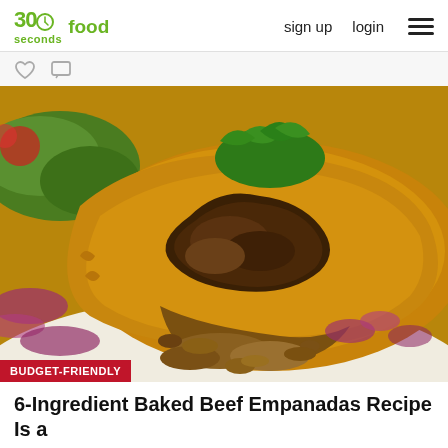30 seconds food | sign up | login
[Figure (photo): Close-up photo of a baked beef empanada broken open showing seasoned ground beef filling, surrounded by red onion slices and garnished with cilantro on top. A red badge in the bottom-left reads BUDGET-FRIENDLY.]
6-Ingredient Baked Beef Empanadas Recipe Is a